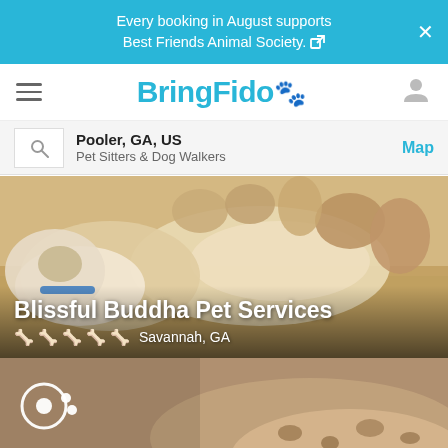Every booking in August supports Best Friends Animal Society.
BringFido
Pooler, GA, US — Pet Sitters & Dog Walkers — Map
[Figure (photo): Dog lying on its back on a sandy beach, white/tan colored dog with blue collar]
Blissful Buddha Pet Services
Savannah, GA
[Figure (photo): Dalmatian dog with brown background, BringFido logo watermark visible]